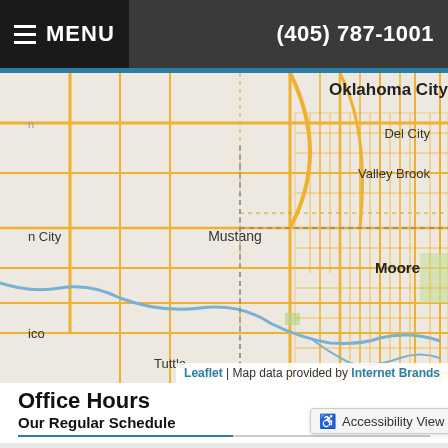MENU  (405) 787-1001
[Figure (map): Street map showing Oklahoma City area including Del City, Valley Brook, Moore, Mustang, Tuttle. Map data provided by Internet Brands via Leaflet.]
Leaflet | Map data provided by Internet Brands
Office Hours
Our Regular Schedule
| Day | Hours |
| --- | --- |
| Monday: | 7:00 am-1:00 pm |
| Tuesday: | 7:00 am-1:00 pm / 2:00 pm-5:30 pm |